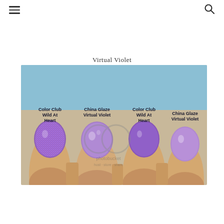≡  🔍
Virtual Violet
[Figure (photo): Comparison photo of four fingernails painted with two purple nail polishes: Color Club Wild At Heart (glittery purple) and China Glaze Virtual Violet (shimmery purple), shown alternating on four fingers with text labels on each nail identifying the polish.]